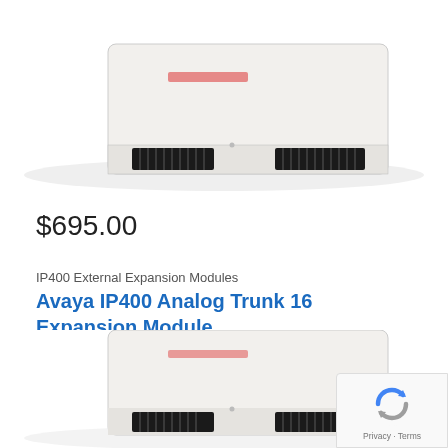[Figure (photo): Top-down perspective photo of a white Avaya IP400 Analog Trunk 16 Expansion Module hardware device with black connector ports on front]
$695.00
IP400 External Expansion Modules
Avaya IP400 Analog Trunk 16 Expansion Module (700211360)
[Figure (photo): Partial photo of a second white Avaya IP400 Analog Trunk 16 Expansion Module hardware device, cut off at bottom]
[Figure (logo): Google reCAPTCHA badge with recycling arrow icon and Privacy · Terms text]